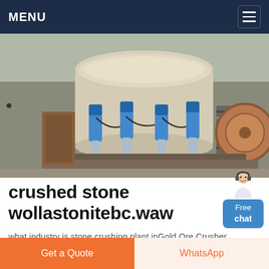MENU
[Figure (photo): Industrial stone crushing machine with blue hydraulic cylinders and heavy metal components, photographed at a mining or quarry site.]
crushed stone wollastonitebc.waw
what industry is stone crushing plant inGold Ore Crusher Shanghai is the preferred for wollastonite crushed and grinded equipment. Basic process of the stone production line Big size ston
Get a Quote | WhatsApp